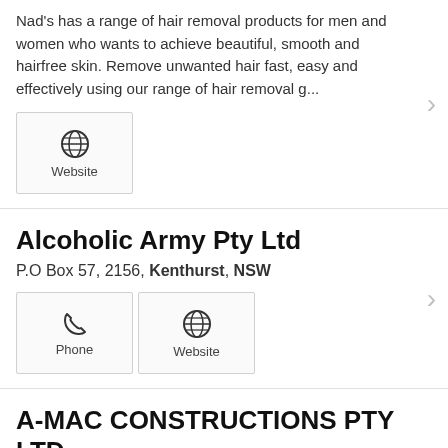Nad's has a range of hair removal products for men and women who wants to achieve beautiful, smooth and hairfree skin. Remove unwanted hair fast, easy and effectively using our range of hair removal g...
[Figure (other): Website icon button with globe icon]
Alcoholic Army Pty Ltd
P.O Box 57, 2156, Kenthurst, NSW
[Figure (other): Phone and Website icon buttons]
A-MAC CONSTRUCTIONS PTY LTD
120 PORTERS RD, 2156, Kenthurst
[Figure (other): Phone icon button]